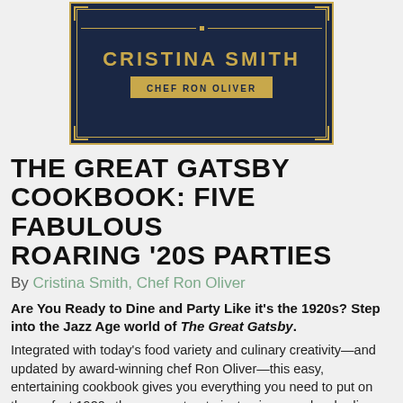[Figure (illustration): Book cover for 'The Great Gatsby Cookbook: Five Fabulous Roaring '20s Parties' by Cristina Smith and Chef Ron Oliver. Dark navy blue background with gold Art Deco decorative border and geometric design. Author names displayed in gold uppercase letters with 'CHEF RON OLIVER' in a gold bar.]
THE GREAT GATSBY COOKBOOK: FIVE FABULOUS ROARING '20S PARTIES
By Cristina Smith, Chef Ron Oliver
Are You Ready to Dine and Party Like it's the 1920s? Step into the Jazz Age world of The Great Gatsby.
Integrated with today's food variety and culinary creativity—and updated by award-winning chef Ron Oliver—this easy, entertaining cookbook gives you everything you need to put on the perfect 1920s theme event or to just enjoy easy lunch, dinner, and party suggestions for four or more. Add a dash of cocktail recipes served during Prohibition, a dollop of the fashion of the flappers, and an exciting garnish of the magical music of the Jazz Age to